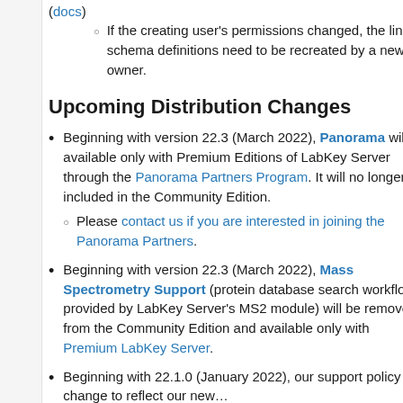(docs)
If the creating user's permissions changed, the linked schema definitions need to be recreated by a new owner.
Upcoming Distribution Changes
Beginning with version 22.3 (March 2022), Panorama will be available only with Premium Editions of LabKey Server through the Panorama Partners Program. It will no longer be included in the Community Edition.
Please contact us if you are interested in joining the Panorama Partners.
Beginning with version 22.3 (March 2022), Mass Spectrometry Support (protein database search workflows provided by LabKey Server's MS2 module) will be removed from the Community Edition and available only with Premium LabKey Server.
Beginning with 22.1.0 (January 2022), our support policy will change to reflect our new...